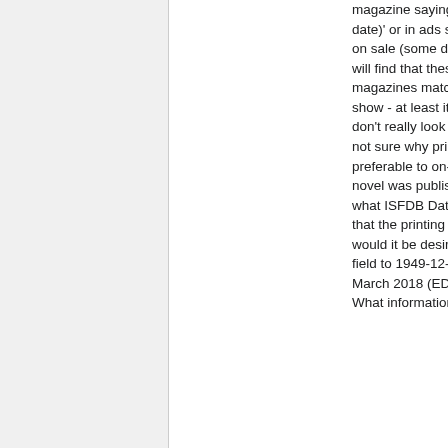magazine saying 'next issue on sale (some date)' or in ads saying "this other magazine on sale (some date)". And if you check you will find that these publication dates stated in magazines match what the registrations show - at least it did for many decades (I don't really look at current magazines). I'm not sure why printing date would be preferable to on-sale sate. E.g. Asimov's first novel was published Jan. 19, 1950 and that's what ISFDB Date shows. If it was determined that the printing had occurred in December, would it be desirable to change that Date field to 1949-12-00? PatConolly 12:54, 16 March 2018 (EDT) What information is the Date